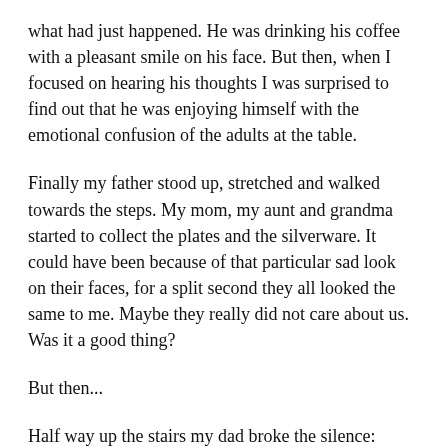what had just happened. He was drinking his coffee with a pleasant smile on his face. But then, when I focused on hearing his thoughts I was surprised to find out that he was enjoying himself with the emotional confusion of the adults at the table.
Finally my father stood up, stretched and walked towards the steps. My mom, my aunt and grandma started to collect the plates and the silverware. It could have been because of that particular sad look on their faces, for a split second they all looked the same to me. Maybe they really did not care about us. Was it a good thing?
But then...
Half way up the stairs my dad broke the silence: